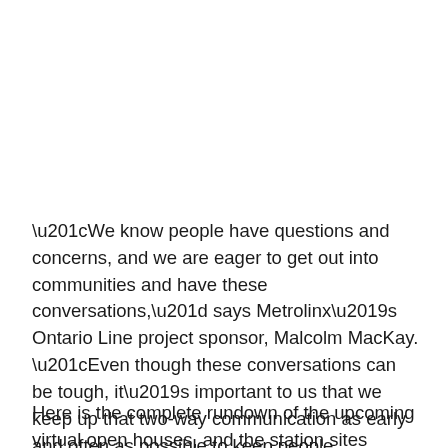“We know people have questions and concerns, and we are eager to get out into communities and have these conversations,” says Metrolinx’s Ontario Line project sponsor, Malcolm MacKay. “Even though these conversations can be tough, it’s important to us that we keep up that two-way communication as early and often as possible to keep people informed.”
Here is the complete rundown of the upcoming virtual open houses, and the station sites they’ll be